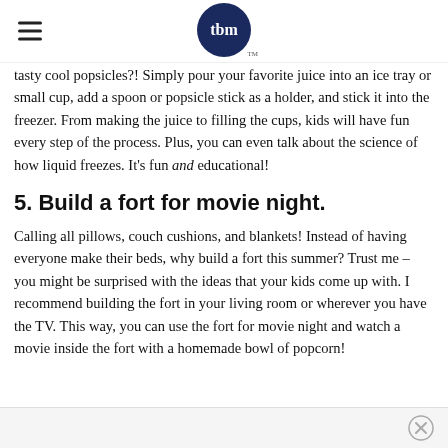tbm
tasty cool popsicles?! Simply pour your favorite juice into an ice tray or small cup, add a spoon or popsicle stick as a holder, and stick it into the freezer. From making the juice to filling the cups, kids will have fun every step of the process. Plus, you can even talk about the science of how liquid freezes. It’s fun and educational!
5. Build a fort for movie night.
Calling all pillows, couch cushions, and blankets! Instead of having everyone make their beds, why build a fort this summer? Trust me – you might be surprised with the ideas that your kids come up with. I recommend building the fort in your living room or wherever you have the TV. This way, you can use the fort for movie night and watch a movie inside the fort with a homemade bowl of popcorn!